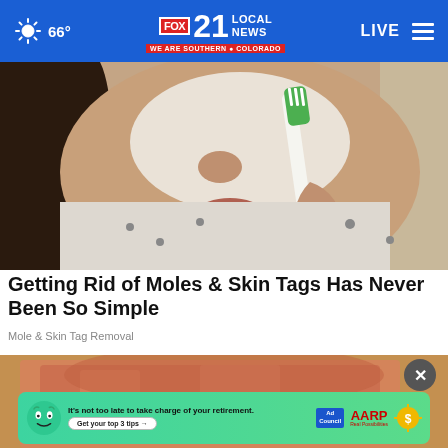66° | FOX 21 LOCAL NEWS — WE ARE SOUTHERN COLORADO | LIVE
[Figure (photo): Woman applying white cream/product to face using a toothbrush, wearing patterned shirt, dark hair]
Getting Rid of Moles & Skin Tags Has Never Been So Simple
Mole & Skin Tag Removal
[Figure (photo): Close-up of a person's face with irritated or reddened skin; partially obscured by advertisement overlay]
[Figure (infographic): AARP advertisement banner: green background with mascot character, text reading 'It’s not too late to take charge of your retirement. Get your top 3 tips →', Ad Council and AARP logos, gold sun icon]